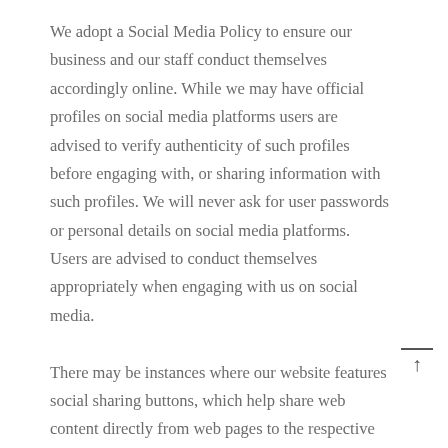We adopt a Social Media Policy to ensure our business and our staff conduct themselves accordingly online. While we may have official profiles on social media platforms users are advised to verify authenticity of such profiles before engaging with, or sharing information with such profiles. We will never ask for user passwords or personal details on social media platforms. Users are advised to conduct themselves appropriately when engaging with us on social media.

There may be instances where our website features social sharing buttons, which help share web content directly from web pages to the respective social media platforms. You use social sharing buttons at your own